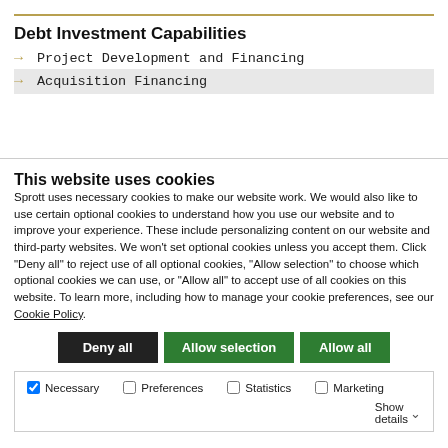Debt Investment Capabilities
→ Project Development and Financing
→ Acquisition Financing
This website uses cookies
Sprott uses necessary cookies to make our website work. We would also like to use certain optional cookies to understand how you use our website and to improve your experience. These include personalizing content on our website and third-party websites. We won't set optional cookies unless you accept them. Click "Deny all" to reject use of all optional cookies, "Allow selection" to choose which optional cookies we can use, or "Allow all" to accept use of all cookies on this website. To learn more, including how to manage your cookie preferences, see our Cookie Policy.